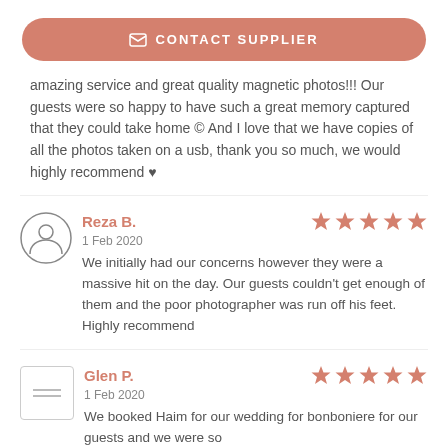[Figure (other): Contact Supplier button with envelope icon]
amazing service and great quality magnetic photos!!! Our guests were so happy to have such a great memory captured that they could take home © And I love that we have copies of all the photos taken on a usb, thank you so much, we would highly recommend ♥
Reza B.
1 Feb 2020
We initially had our concerns however they were a massive hit on the day. Our guests couldn't get enough of them and the poor photographer was run off his feet. Highly recommend
Glen P.
1 Feb 2020
We booked Haim for our wedding for bonboniere for our guests and we were so